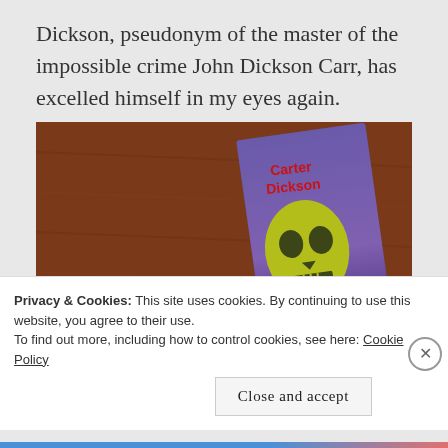Dickson, pseudonym of the master of the impossible crime John Dickson Carr, has excelled himself in my eyes again.
[Figure (photo): A book titled 'Nine—And Death' by Carter Dickson, showing a skull on the cover in yellow-green tones against a purple background, lying on a wooden surface.]
Privacy & Cookies: This site uses cookies. By continuing to use this website, you agree to their use.
To find out more, including how to control cookies, see here: Cookie Policy